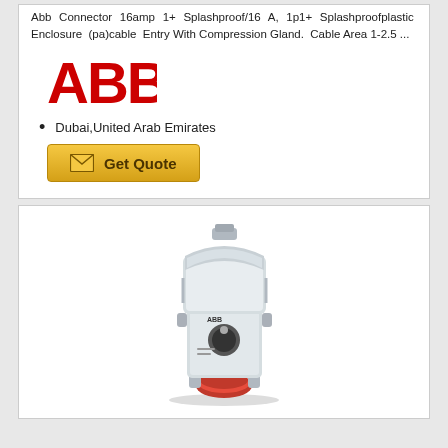Abb Connector 16amp 1+ Splashproof/16 A, 1p1+ Splashproofplastic Enclosure (pa)cable Entry With Compression Gland. Cable Area 1-2.5 ...
[Figure (logo): ABB logo in red letters]
Dubai,United Arab Emirates
[Figure (photo): ABB industrial electrical connector/socket with interlocked switch, white plastic enclosure with red connector bottom, wall-mount type]